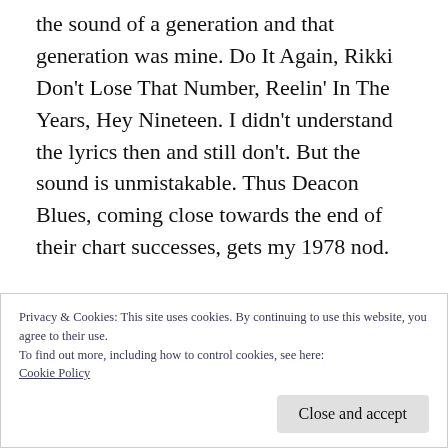the sound of a generation and that generation was mine. Do It Again, Rikki Don't Lose That Number, Reelin' In The Years, Hey Nineteen. I didn't understand the lyrics then and still don't. But the sound is unmistakable. Thus Deacon Blues, coming close towards the end of their chart successes, gets my 1978 nod.

With these, and so many other great songs of the 70s, Sonny cotinues – 40 years later, to
Privacy & Cookies: This site uses cookies. By continuing to use this website, you agree to their use.
To find out more, including how to control cookies, see here:
Cookie Policy